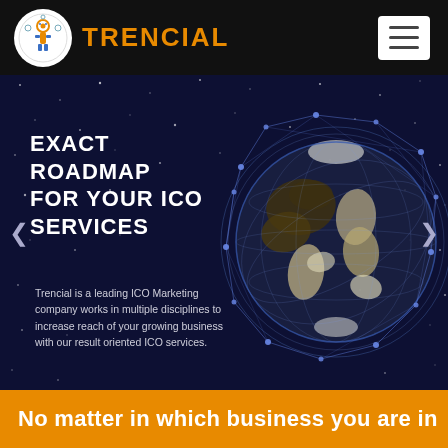TRENCIAL
EXACT ROADMAP FOR YOUR ICO SERVICES
Trencial is a leading ICO Marketing company works in multiple disciplines to increase reach of your growing business with our result oriented ICO services.
[Figure (illustration): 3D wireframe globe showing Earth landmasses against a dark starfield background]
No matter in which business you are in